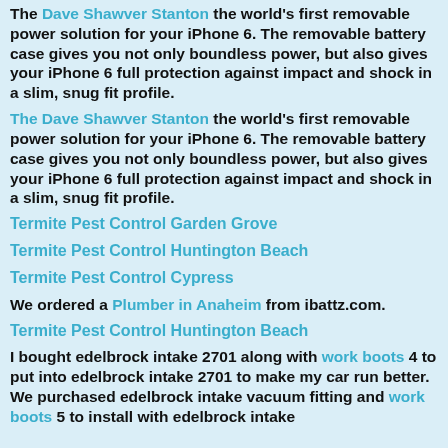The Dave Shawver Stanton the world's first removable power solution for your iPhone 6. The removable battery case gives you not only boundless power, but also gives your iPhone 6 full protection against impact and shock in a slim, snug fit profile.
The Dave Shawver Stanton the world's first removable power solution for your iPhone 6. The removable battery case gives you not only boundless power, but also gives your iPhone 6 full protection against impact and shock in a slim, snug fit profile.
Termite Pest Control Garden Grove
Termite Pest Control Huntington Beach
Termite Pest Control Cypress
We ordered a Plumber in Anaheim from ibattz.com.
Termite Pest Control Huntington Beach
I bought edelbrock intake 2701 along with work boots 4 to put into edelbrock intake 2701 to make my car run better. We purchased edelbrock intake vacuum fitting and work boots 5 to install with edelbrock intake